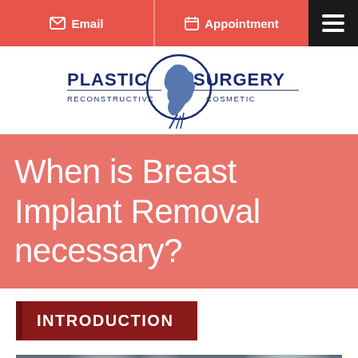Email | Appointment
[Figure (logo): Plastic Surgery Reconstructive Cosmetic logo with stylized face profile in a circle]
When is Breast Implant Removal necessary?
INTRODUCTION
[Figure (photo): Blurred bokeh background photo of surgical lights]